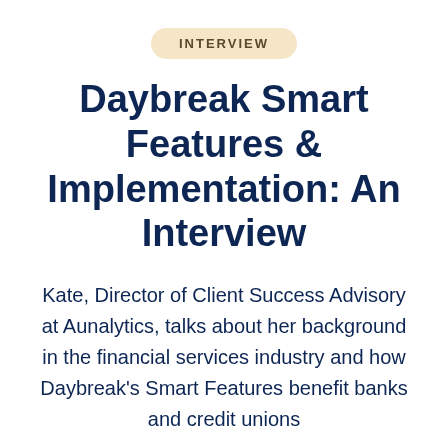INTERVIEW
Daybreak Smart Features & Implementation: An Interview
Kate, Director of Client Success Advisory at Aunalytics, talks about her background in the financial services industry and how Daybreak's Smart Features benefit banks and credit unions